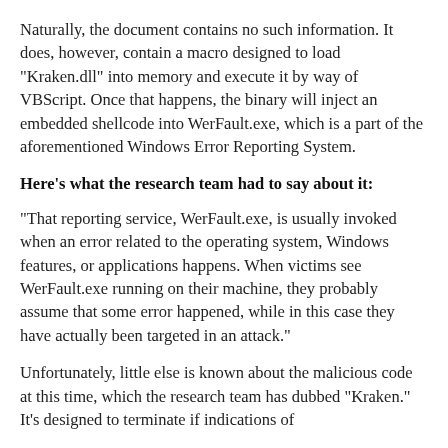Naturally, the document contains no such information. It does, however, contain a macro designed to load "Kraken.dll" into memory and execute it by way of VBScript. Once that happens, the binary will inject an embedded shellcode into WerFault.exe, which is a part of the aforementioned Windows Error Reporting System.
Here's what the research team had to say about it:
"That reporting service, WerFault.exe, is usually invoked when an error related to the operating system, Windows features, or applications happens. When victims see WerFault.exe running on their machine, they probably assume that some error happened, while in this case they have actually been targeted in an attack."
Unfortunately, little else is known about the malicious code at this time, which the research team has dubbed "Kraken." It's designed to terminate if indications of